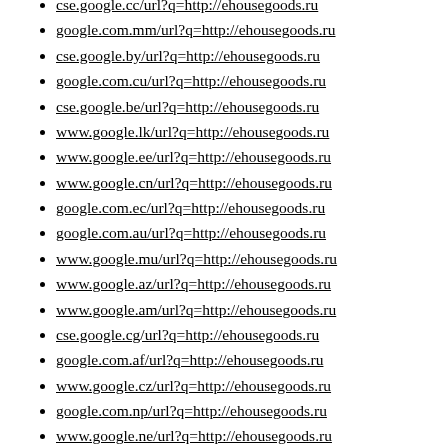cse.google.cc/url?q=http://ehousegoods.ru
google.com.mm/url?q=http://ehousegoods.ru
cse.google.by/url?q=http://ehousegoods.ru
google.com.cu/url?q=http://ehousegoods.ru
cse.google.be/url?q=http://ehousegoods.ru
www.google.lk/url?q=http://ehousegoods.ru
www.google.ee/url?q=http://ehousegoods.ru
www.google.cn/url?q=http://ehousegoods.ru
google.com.ec/url?q=http://ehousegoods.ru
google.com.au/url?q=http://ehousegoods.ru
www.google.mu/url?q=http://ehousegoods.ru
www.google.az/url?q=http://ehousegoods.ru
www.google.am/url?q=http://ehousegoods.ru
cse.google.cg/url?q=http://ehousegoods.ru
google.com.af/url?q=http://ehousegoods.ru
www.google.cz/url?q=http://ehousegoods.ru
google.com.np/url?q=http://ehousegoods.ru
www.google.ne/url?q=http://ehousegoods.ru
www.google.cc/url?q=http://ehousegoods.ru